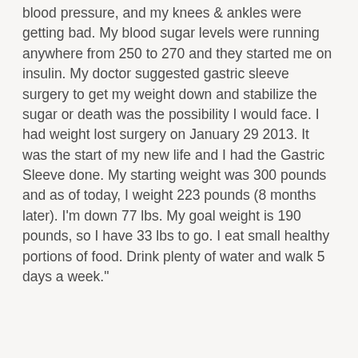blood pressure, and my knees & ankles were getting bad. My blood sugar levels were running anywhere from 250 to 270 and they started me on insulin. My doctor suggested gastric sleeve surgery to get my weight down and stabilize the sugar or death was the possibility I would face. I had weight lost surgery on January 29 2013. It was the start of my new life and I had the Gastric Sleeve done. My starting weight was 300 pounds and as of today, I weight 223 pounds (8 months later). I'm down 77 lbs. My goal weight is 190 pounds, so I have 33 lbs to go. I eat small healthy portions of food. Drink plenty of water and walk 5 days a week."